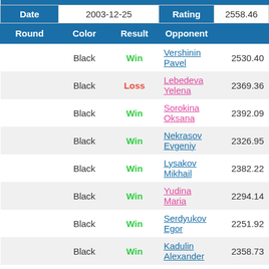| Date | 2003-12-25 | Rating | 2558.46 |
| --- | --- | --- | --- |
| Round | Color | Result | Opponent |  |
|  | Black | Win | Vershinin Pavel | 2530.40 |
|  | Black | Loss | Lebedeva Yelena | 2369.36 |
|  | Black | Win | Sorokina Oksana | 2392.09 |
|  | Black | Win | Nekrasov Evgeniy | 2326.95 |
|  | Black | Win | Lysakov Mikhail | 2382.22 |
|  | Black | Win | Yudina Maria | 2294.14 |
|  | Black | Win | Serdyukov Egor | 2251.92 |
|  | Black | Win | Kadulin Alexander | 2358.73 |
|  | Black | Win | Sumarokov Evgeny | 2259.32 |
|  | Black | Draw | Okatova Anna | 2240.24 |
|  | Black | Win | Krayeva Tatyana | 2169.07 |